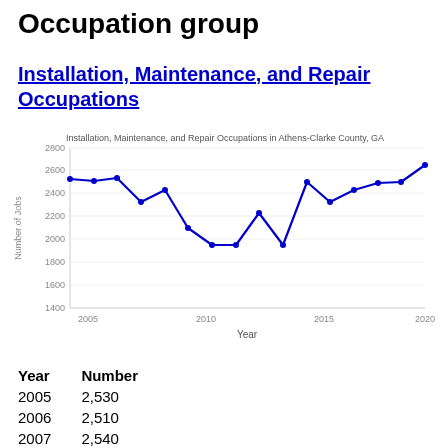Occupation group
Installation, Maintenance, and Repair Occupations
[Figure (line-chart): Installation, Maintenance, and Repair Occupations in Athens-Clarke County, GA]
| Year | Number |
| --- | --- |
| 2005 | 2,530 |
| 2006 | 2,510 |
| 2007 | 2,540 |
| 2008 | 2,330 |
| 2009 | 2,430 |